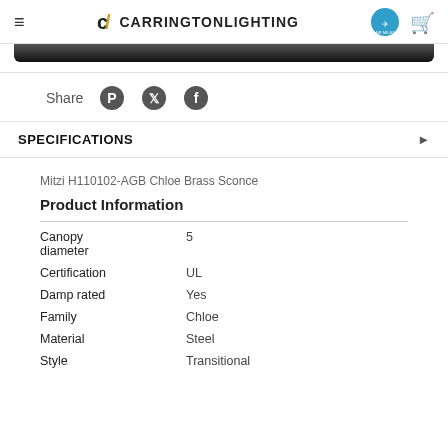≡  CARRINGTON LIGHTING
[Figure (photo): Bottom edge of a product photo with dark curved shape on white background]
Share
SPECIFICATIONS
Mitzi H110102-AGB Chloe Brass Sconce
Product Information
|  |  |
| --- | --- |
| Canopy diameter | 5 |
| Certification | UL |
| Damp rated | Yes |
| Family | Chloe |
| Material | Steel |
| Style | Transitional |